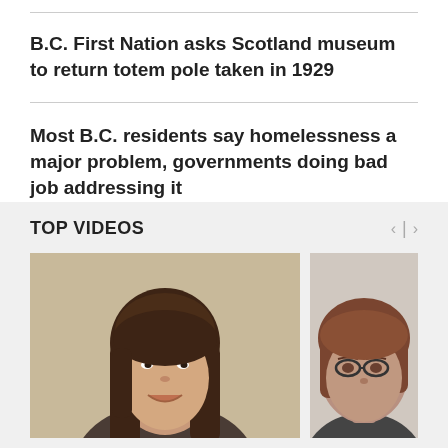B.C. First Nation asks Scotland museum to return totem pole taken in 1929
Most B.C. residents say homelessness a major problem, governments doing bad job addressing it
TOP VIDEOS
[Figure (photo): Portrait photo of a woman with long dark brown hair, smiling, against a neutral background]
[Figure (photo): Partial portrait photo of a man wearing glasses with reddish-brown hair]